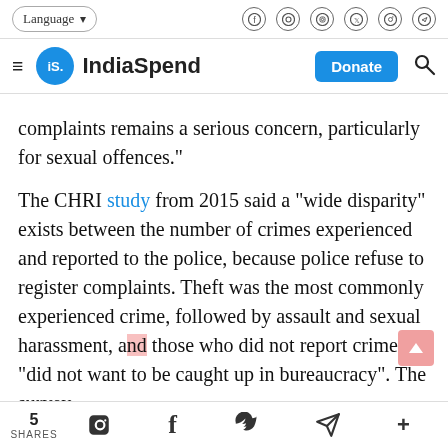Language [dropdown] | social icons (Facebook, YouTube, Instagram, Twitter, Pinterest, Telegram)
≡ iS. IndiaSpend  [Donate] 🔍
complaints remains a serious concern, particularly for sexual offences."
The CHRI study from 2015 said a "wide disparity" exists between the number of crimes experienced and reported to the police, because police refuse to register complaints. Theft was the most commonly experienced crime, followed by assault and sexual harassment, and those who did not report crimes "did not want to be caught up in bureaucracy". The survey
5 SHARES  [WhatsApp] [Facebook] [Twitter] [Telegram] [+]